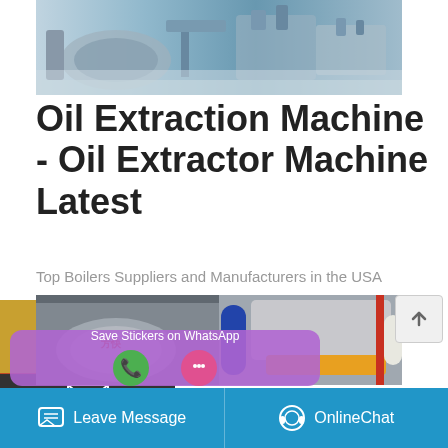[Figure (photo): Industrial machinery/oil extraction equipment in a factory setting - blue and grey tones]
Oil Extraction Machine - Oil Extractor Machine Latest
Top Boilers Suppliers and Manufacturers in the USA
[Figure (screenshot): Left sidebar UI overlay with Chat, Email, and Contact icons on dark background; Get a Quote yellow button; industrial boiler/oil extraction machine photos below; WhatsApp sticker popup; scroll-up button; Blue bottom bar with Leave Message and OnlineChat options]